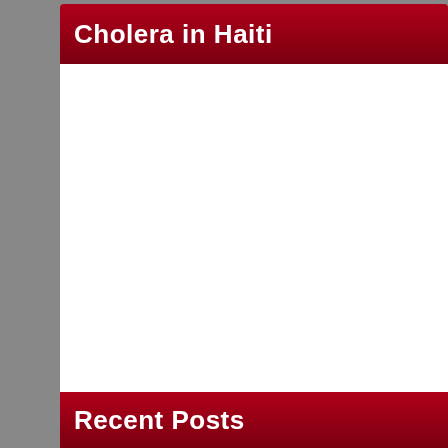Cholera in Haiti
[Figure (other): White blank content area — a web page screenshot showing an empty main content panel]
Recent Posts